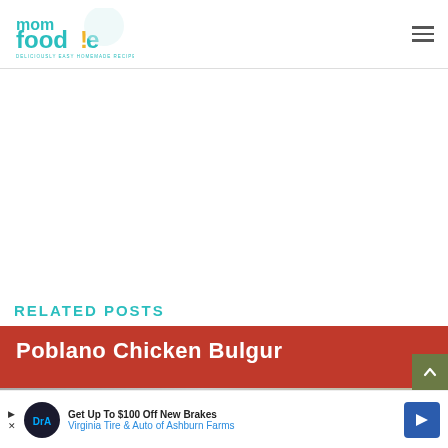mom foodie — DELICIOUSLY EASY HOMEMADE RECIPES
RELATED POSTS
[Figure (photo): Poblano Chicken Bulgur recipe card with white bold text on a red banner background over a blurred food photo]
[Figure (infographic): Advertisement banner: Get Up To $100 Off New Brakes — Virginia Tire & Auto of Ashburn Farms]